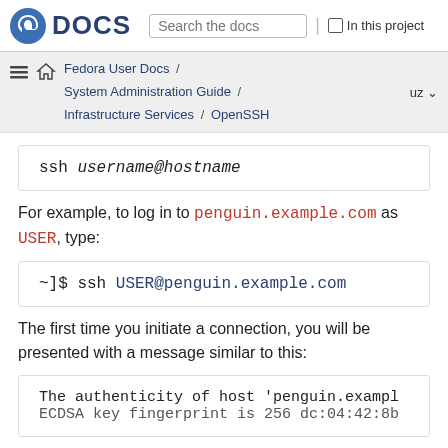Fedora DOCS — Search the docs | In this project
Fedora User Docs / System Administration Guide / Infrastructure Services / OpenSSH — uz
ssh username@hostname
For example, to log in to penguin.example.com as USER, type:
~]$ ssh USER@penguin.example.com
The first time you initiate a connection, you will be presented with a message similar to this:
The authenticity of host 'penguin.exampl
ECDSA key fingerprint is 256 dc:04:42:8b